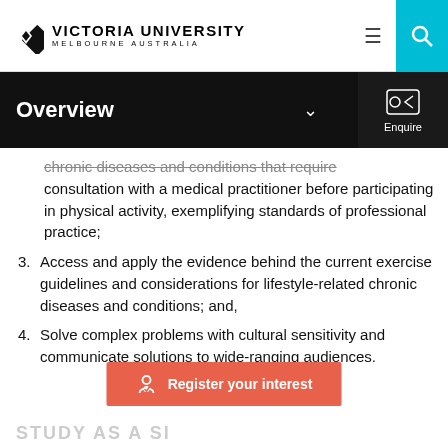VICTORIA UNIVERSITY MELBOURNE AUSTRALIA
Overview
chronic diseases and conditions that require consultation with a medical practitioner before participating in physical activity, exemplifying standards of professional practice;
3. Access and apply the evidence behind the current exercise guidelines and considerations for lifestyle-related chronic diseases and conditions; and,
4. Solve complex problems with cultural sensitivity and communicate solutions to wide-ranging audiences.
Register your interest
STUDY AS A SI...